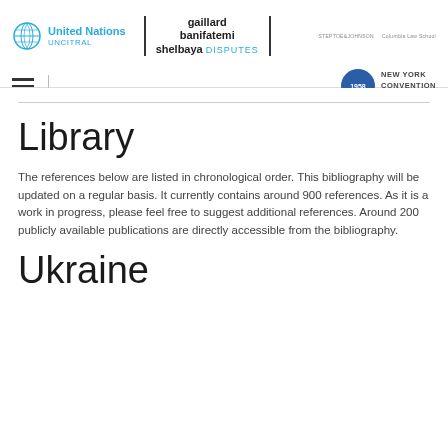United Nations UNCITRAL | gaillard banifatemi shelbaya DISPUTES | New York Convention Guide 1958
Library
The references below are listed in chronological order. This bibliography will be updated on a regular basis. It currently contains around 900 references. As it is a work in progress, please feel free to suggest additional references. Around 200 publicly available publications are directly accessible from the bibliography.
Ukraine